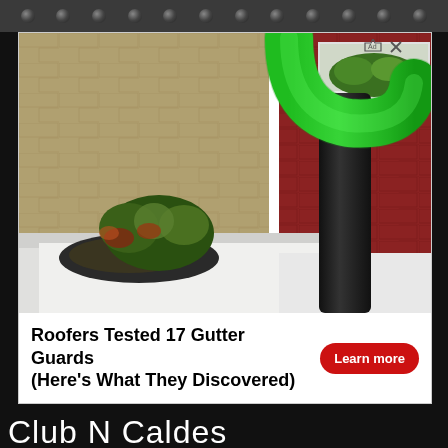[Figure (photo): Advertisement photo showing a green curved gutter cleaning hose attachment being used to clean debris from a residential rain gutter. A black blower tube with a green curved attachment is positioned over a clogged gutter filled with leaves and debris against a red brick wall background.]
Roofers Tested 17 Gutter Guards (Here's What They Discovered)
Learn more
Club N Caldes